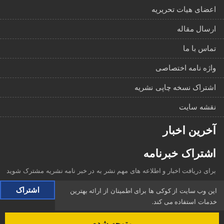اعضای هیات تحریریه
ارسال مقاله
تماس با ما
واژه نامه اختصاصی
اشتراک نسخه چاپی نشریه
نقشه سایت
آخرین اخبار
اشتراک خبرنامه
برای دریافت اخبار و اطلاعه های مهم نشر به در خبر نامه نشریه مشترک شوید
این وب سایت از کوکی ها برای اطمینان از ارائه بهترین خدمات استفاده می کند.
متوجه شدم
فامنه مدیریت نشریات علمی. قدرت گرفته از سیناوب